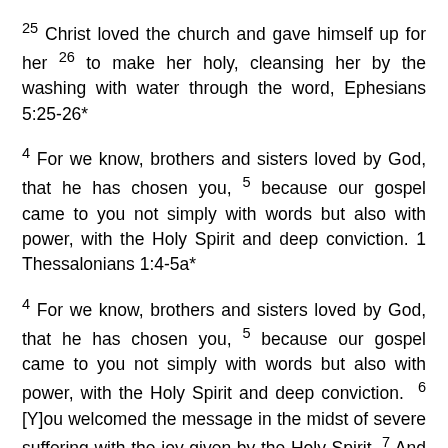25 Christ loved the church and gave himself up for her 26 to make her holy, cleansing her by the washing with water through the word, Ephesians 5:25-26*
4 For we know, brothers and sisters loved by God, that he has chosen you, 5 because our gospel came to you not simply with words but also with power, with the Holy Spirit and deep conviction. 1 Thessalonians 1:4-5a*
4 For we know, brothers and sisters loved by God, that he has chosen you, 5 because our gospel came to you not simply with words but also with power, with the Holy Spirit and deep conviction. 6 [Y]ou welcomed the message in the midst of severe suffering with the joy given by the Holy Spirit. 7 And so